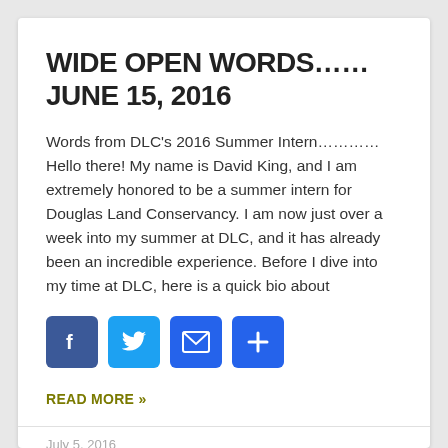WIDE OPEN WORDS……JUNE 15, 2016
Words from DLC's 2016 Summer Intern…………Hello there! My name is David King, and I am extremely honored to be a summer intern for Douglas Land Conservancy.  I am now just over a week into my summer at DLC, and it has already been an incredible experience. Before I dive into my time at DLC, here is a quick bio about
[Figure (other): Social share buttons: Facebook, Twitter, Email, Plus]
READ MORE »
July 5, 2016